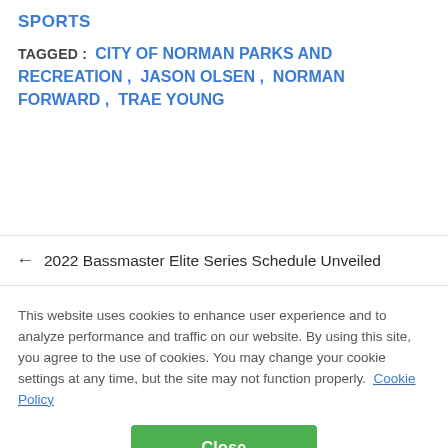SPORTS
TAGGED :  CITY OF NORMAN PARKS AND RECREATION,  JASON OLSEN,  NORMAN FORWARD ,  TRAE YOUNG
← 2022 Bassmaster Elite Series Schedule Unveiled
This website uses cookies to enhance user experience and to analyze performance and traffic on our website. By using this site, you agree to the use of cookies. You may change your cookie settings at any time, but the site may not function properly.  Cookie Policy
Close